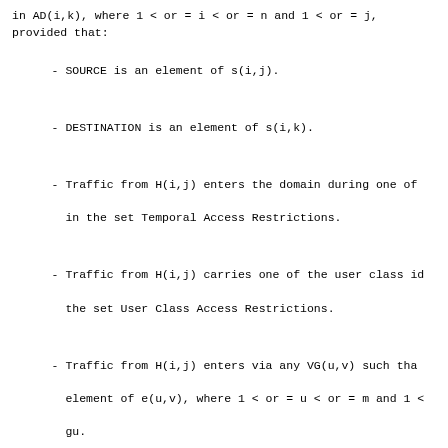in AD(i,k), where 1 < or = i < or = n and 1 < or = j,
provided that:
- SOURCE is an element of s(i,j).
- DESTINATION is an element of s(i,k).
- Traffic from H(i,j) enters the domain during one of
  in the set Temporal Access Restrictions.
- Traffic from H(i,j) carries one of the user class id
  the set User Class Access Restrictions.
- Traffic from H(i,j) enters via any VG(u,v) such tha
  element of e(u,v), where 1 < or = u < or = m and 1 <
  gu.
- Traffic to H(i,k) leaves via any VG(u,w) such that B
  element of e(u,w), where 1 < or = w < or = gu.
1.5.  IDPR Message Encapsulation
There are two kinds of IDPR messages:
- "Data messages" containing user data generated by ho
- "Control messages" containing IDPR protocol-related
  information generated by policy gateways and route s
Within an internetwork, only policy gateways and route
able to generate, receive, and process IDPR